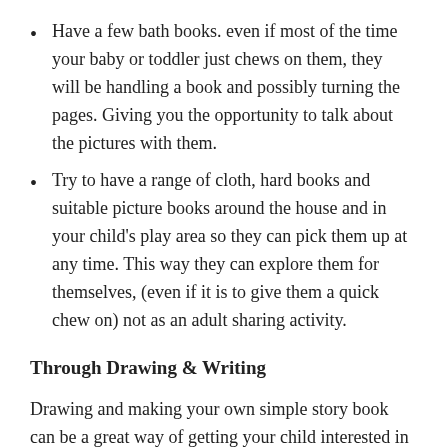Have a few bath books. even if most of the time your baby or toddler just chews on them, they will be handling a book and possibly turning the pages. Giving you the opportunity to talk about the pictures with them.
Try to have a range of cloth, hard books and suitable picture books around the house and in your child's play area so they can pick them up at any time. This way they can explore them for themselves, (even if it is to give them a quick chew on) not as an adult sharing activity.
Through Drawing & Writing
Drawing and making your own simple story book can be a great way of getting your child interested in books and reading. Children love to know stories about them. Simple